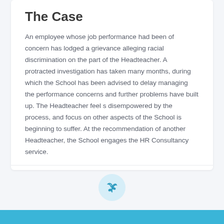The Case
An employee whose job performance had been of concern has lodged a grievance alleging racial discrimination on the part of the Headteacher. A protracted investigation has taken many months, during which the School has been advised to delay managing the performance concerns and further problems have built up. The Headteacher feel s disempowered by the process, and focus on other aspects of the School is beginning to suffer. At the recommendation of another Headteacher, the School engages the HR Consultancy service.
[Figure (illustration): A small teal plant/seedling icon inside a light blue circle]
The Outcome / Key Principles